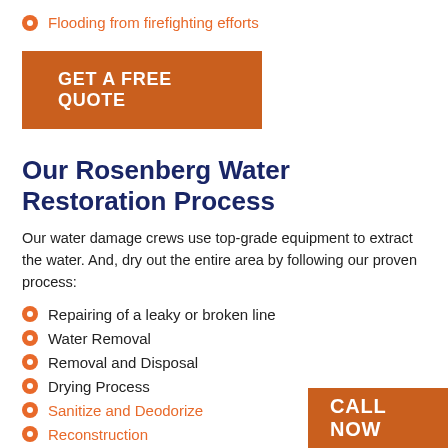Flooding from firefighting efforts
GET A FREE QUOTE
Our Rosenberg Water Restoration Process
Our water damage crews use top-grade equipment to extract the water. And, dry out the entire area by following our proven process:
Repairing of a leaky or broken line
Water Removal
Removal and Disposal
Drying Process
Sanitize and Deodorize
Reconstruction
CALL NOW